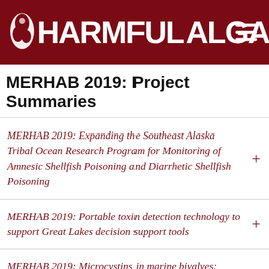[Figure (logo): Harmful Algae website header with dark red background, white bold text reading 'HARMFUL ALGAE' with an algae cell icon between the words, and a hamburger menu icon on the right]
MERHAB 2019: Project Summaries
MERHAB 2019: Expanding the Southeast Alaska Tribal Ocean Research Program for Monitoring of Amnesic Shellfish Poisoning and Diarrhetic Shellfish Poisoning
MERHAB 2019: Portable toxin detection technology to support Great Lakes decision support tools
MERHAB 2019: Microcystins in marine bivalves: Optimizing of monitoring for and minimizing risk from